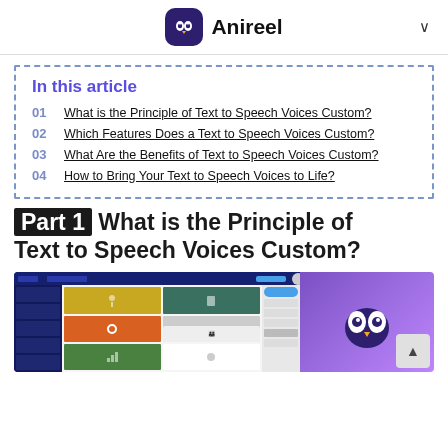Anireel
In this article
01  What is the Principle of Text to Speech Voices Custom?
02  Which Features Does a Text to Speech Voices Custom?
03  What Are the Benefits of Text to Speech Voices Custom?
04  How to Bring Your Text to Speech Voices to Life?
Part 1 What is the Principle of Text to Speech Voices Custom?
[Figure (screenshot): Screenshot of Anireel software interface on the left and Anireel app logo on purple background on the right]